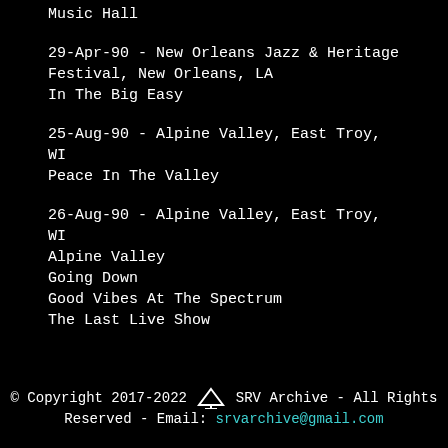Music Hall
29-Apr-90 - New Orleans Jazz & Heritage Festival, New Orleans, LA
In The Big Easy
25-Aug-90 - Alpine Valley, East Troy, WI
Peace In The Valley
26-Aug-90 - Alpine Valley, East Troy, WI
Alpine Valley
Going Down
Good Vibes At The Spectrum
The Last Live Show
© Copyright 2017-2022 SRV Archive - All Rights Reserved - Email: srvarchive@gmail.com